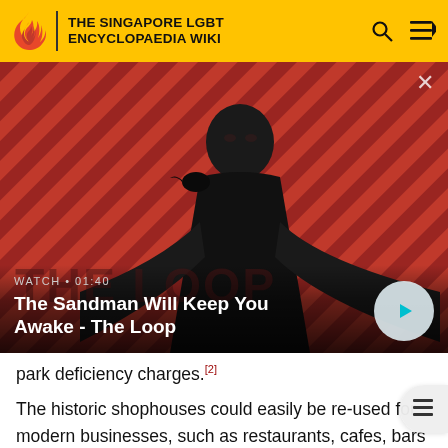THE SINGAPORE LGBT ENCYCLOPAEDIA WIKI
[Figure (screenshot): Video thumbnail for 'The Sandman Will Keep You Awake - The Loop'. Shows a pale figure in dark clothing with a raven on shoulder, against a red and black diagonal stripe background. Overlay text: WATCH • 01:40, The Sandman Will Keep You Awake - The Loop. Play button visible bottom right.]
park deficiency charges.[2]
The historic shophouses could easily be re-used for modern businesses, such as restaurants, cafes, bars and small shops. The interior of the buildings could be modified with the new use in mind, in some cases using